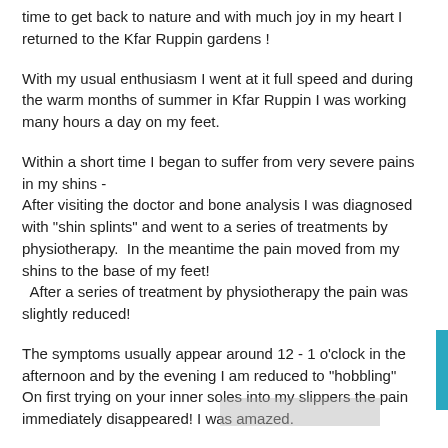time to get back to nature and with much joy in my heart I returned to the Kfar Ruppin gardens !
With my usual enthusiasm I went at it full speed and during the warm months of summer in Kfar Ruppin I was working many hours a day on my feet.
Within a short time I began to suffer from very severe pains in my shins -
After visiting the doctor and bone analysis I was diagnosed with "shin splints" and went to a series of treatments by physiotherapy.  In the meantime the pain moved from my shins to the base of my feet!  After a series of treatment by physiotherapy the pain was slightly reduced!
The symptoms usually appear around 12 - 1 o'clock in the afternoon and by the evening I am reduced to "hobbling"
On first trying on your inner soles into my slippers the pain immediately disappeared! I was amazed.
During working hours I have also used the inner soles and by the end